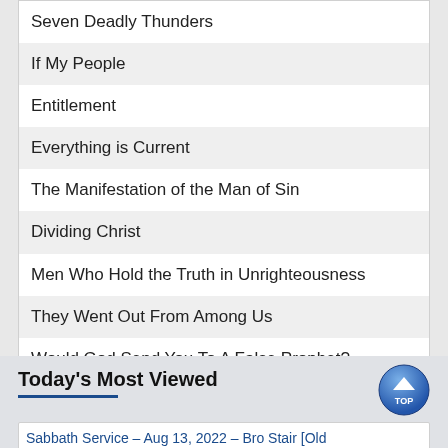Seven Deadly Thunders
If My People
Entitlement
Everything is Current
The Manifestation of the Man of Sin
Dividing Christ
Men Who Hold the Truth in Unrighteousness
They Went Out From Among Us
Would God Send You To A False Prophet?
Greater Than Jesus
Waxing Worse and Worse
The Man of Sin Revealed
Today's Most Viewed
Sabbath Service – Aug 13, 2022 – Bro Stair [Old